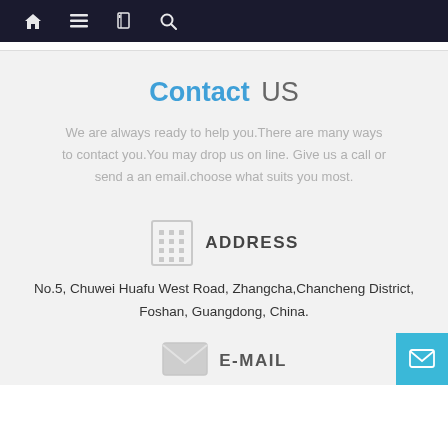Navigation bar with home, menu, book, and search icons
Contact US
We are always ready to help you.There are many ways to contact you.You may drop us on line. Give us a call or send a an email.choose what suits you most.
ADDRESS
No.5, Chuwei Huafu West Road, Zhangcha,Chancheng District, Foshan, Guangdong, China.
E-MAIL